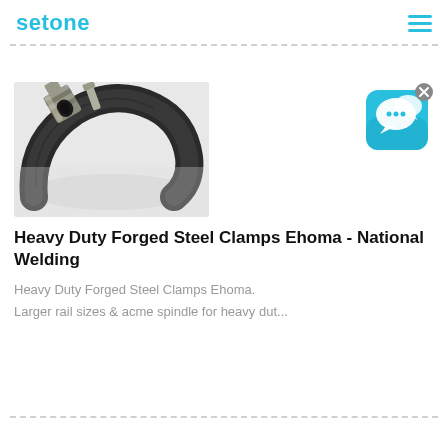setone
[Figure (photo): Close-up photo of a heavy duty forged steel hose clamp/fitting with a coiled black rubber hose against a white background]
[Figure (other): Chat widget icon — blue rounded square with speech bubble icons and an X close button]
Heavy Duty Forged Steel Clamps Ehoma - National Welding
Heavy Duty Forged Steel Clamps Ehoma.
Larger rail sizes & acme spindle for heavy dut...